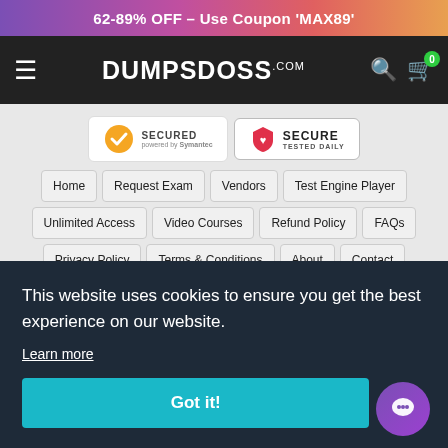62-89% OFF – Use Coupon 'MAX89'
[Figure (logo): DumpsBoss.com logo on dark navbar with hamburger menu, search icon, and cart icon showing 0 items]
[Figure (other): Symantec Secured badge and Secure Tested Daily badge]
Home
Request Exam
Vendors
Test Engine Player
Unlimited Access
Video Courses
Refund Policy
FAQs
Privacy Policy
Terms & Conditions
About
Contact
This website uses cookies to ensure you get the best experience on our website.
Learn more
Got it!